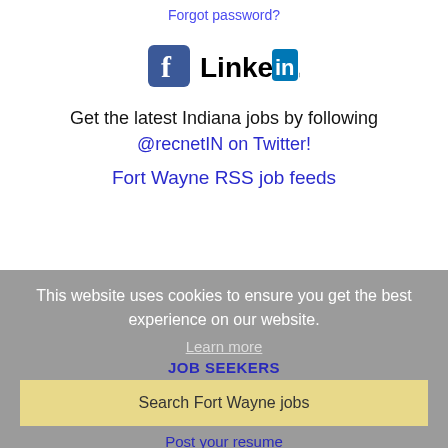Forgot password?
[Figure (logo): Facebook logo and LinkedIn logo side by side]
Get the latest Indiana jobs by following @recnetIN on Twitter!
Fort Wayne RSS job feeds
This website uses cookies to ensure you get the best experience on our website.
Learn more
JOB SEEKERS
Search Fort Wayne jobs
Post your resume
Email job alerts